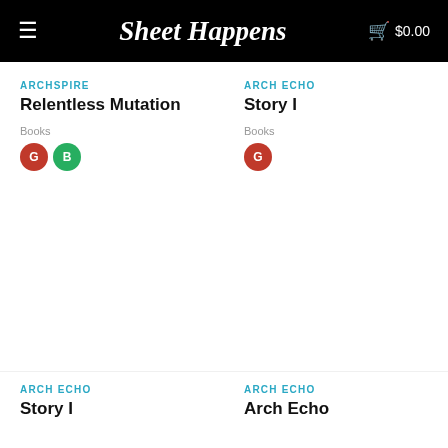Sheet Happens  $0.00
ARCHSPIRE
Relentless Mutation
Books
G B
ARCH ECHO
Story I
Books
G
ARCH ECHO
Story I
ARCH ECHO
Arch Echo